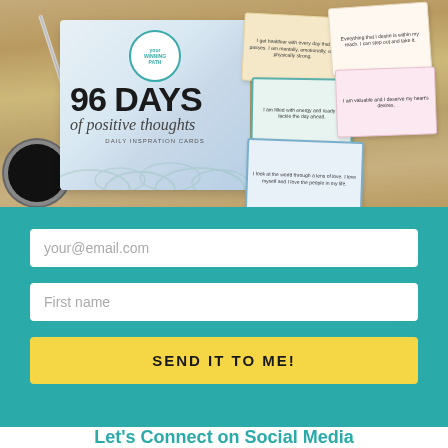[Figure (photo): Product photo showing '96 Days of Positive Thoughts Daily Inspiration Cards' booklet with scattered affirmation cards on a wooden desk background with a coffee cup and pencil. Cards show affirmations like 'I am filled with energy and ready to tackle the day ahead.']
your@email.com
First name
SEND IT TO ME!
Let's Connect on Social Media